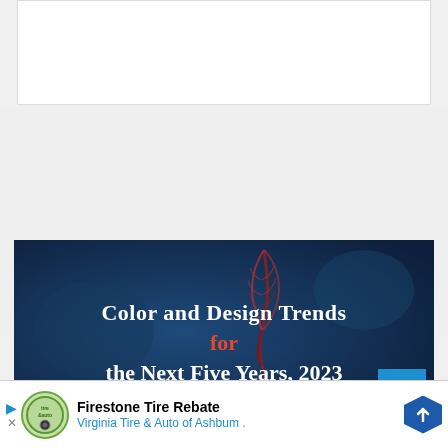[Figure (other): White content box placeholder area at top of page]
[Figure (illustration): Video thumbnail with dark blue background showing a decorative quill/feather in red-brown tones and white bold text reading 'Color and Design Trends for the Next Five Years, 2023' with 'for' in red. A scroll-up button is in the bottom right corner.]
[Figure (infographic): Advertisement banner for Firestone Tire Rebate by Virginia Tire & Auto of Ashburn with play and close icons on the left, a circular logo, text, and a blue hexagonal arrow icon on the right.]